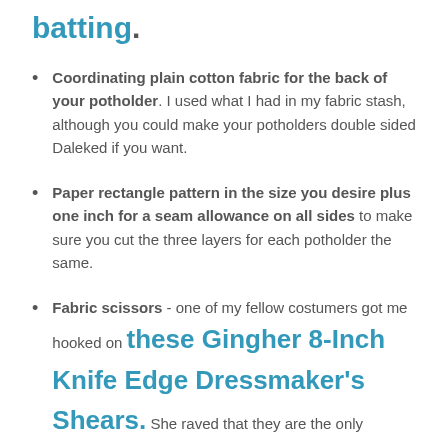batting.
Coordinating plain cotton fabric for the back of your potholder. I used what I had in my fabric stash, although you could make your potholders double sided Daleked if you want.
Paper rectangle pattern in the size you desire plus one inch for a seam allowance on all sides to make sure you cut the three layers for each potholder the same.
Fabric scissors - one of my fellow costumers got me hooked on these Gingher 8-Inch Knife Edge Dressmaker's Shears. She raved that they are the only